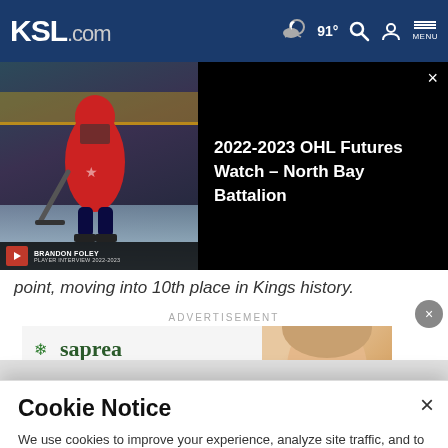KSL.com — 91° weather icon, search, account, MENU
[Figure (screenshot): Hockey player skating on ice rink, video overlay panel showing '2022-2023 OHL Futures Watch – North Bay Battalion' title on black background with close button]
point, moving into 10th place in Kings history.
ADVERTISEMENT
[Figure (photo): Saprea advertisement banner with logo and partial face image]
Cookie Notice
We use cookies to improve your experience, analyze site traffic, and to personalize content and ads. By continuing to use our site, you consent to our use of cookies. Please visit our Terms of Use and Privacy Policy for more information